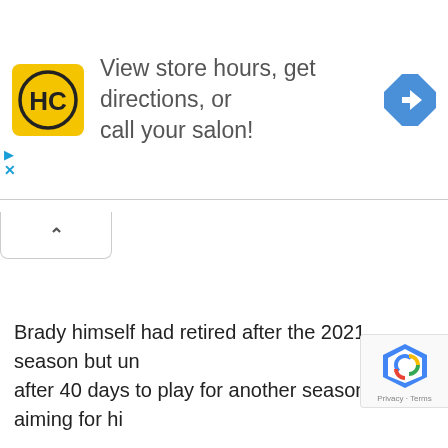[Figure (screenshot): Advertisement banner for Hair Club (HC) salon with yellow logo, text 'View store hours, get directions, or call your salon!', and a blue navigation diamond icon. Below the banner is a collapse tab with an up-arrow caret, and ad controls (play and close X).]
Brady himself had retired after the 2021 season but un after 40 days to play for another season, aiming for hi